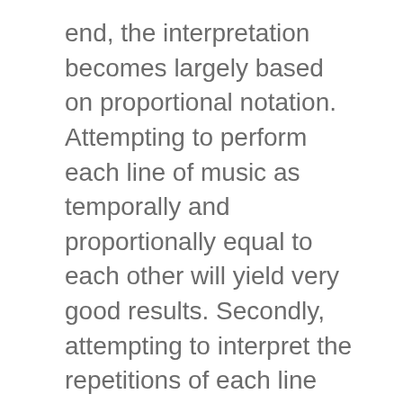end, the interpretation becomes largely based on proportional notation.  Attempting to perform each line of music as temporally and proportionally equal to each other will yield very good results.  Secondly, attempting to interpret the repetitions of each line the exact same way will help in achieving uniformity as well as giving the audience the opportunity to better appreciate the cycling and layering that is occurring in the piece.

Another innovative aspect of the work is its use of staves—there is no grand staff.  Like the conventional grand staff, two lines are combined each time.  However, Furrer's score asks that when the line is over, the bottom line